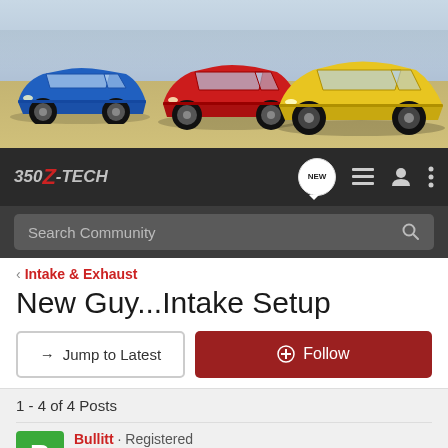[Figure (photo): Three Nissan 350Z/370Z sports cars (blue, red, yellow) on a dry lakebed with mountains in background]
350Z-TECH  [NEW]  [list icon]  [user icon]  [menu icon]
Search Community
< Intake & Exhaust
New Guy...Intake Setup
→ Jump to Latest
+ Follow
1 - 4 of 4 Posts
Bullitt · Registered
Joined Jul 16, 2004 · 2 Posts